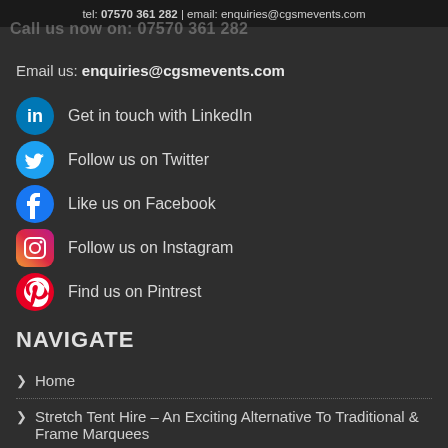tel: 07570 361 282  |  email: enquiries@cgsmevents.com
Call us now on: 07570 361 282
Email us: enquiries@cgsmevents.com
Get in touch with LinkedIn
Follow us on Twitter
Like us on Facebook
Follow us on Instagram
Find us on Pintrest
NAVIGATE
Home
Stretch Tent Hire – An Exciting Alternative To Traditional & Frame Marquees
Octobar Stretch Tents
Interiors